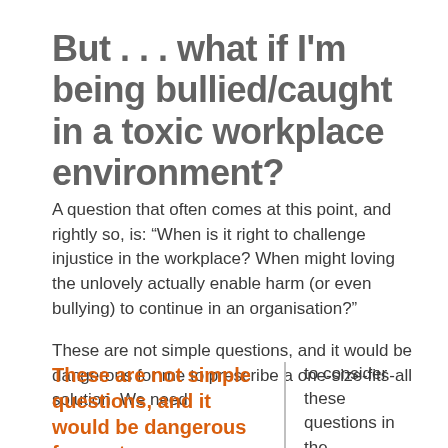But . . . what if I'm being bullied/caught in a toxic workplace environment?
A question that often comes at this point, and rightly so, is: “When is it right to challenge injustice in the workplace? When might loving the unlovely actually enable harm (or even bullying) to continue in an organisation?”
These are not simple questions, and it would be dangerous for me to prescribe a one-size-fits-all solution. We need to consider these questions in the
These are not simple questions, and it would be dangerous for me to